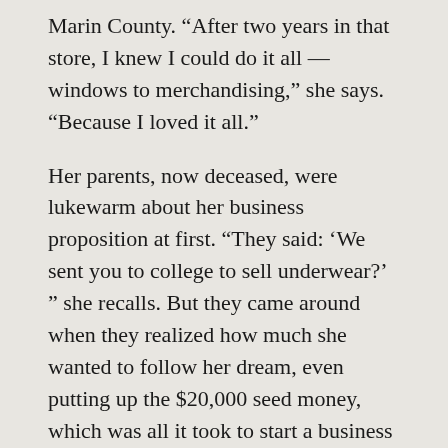Marin County. “After two years in that store, I knew I could do it all — windows to merchandising,” she says. “Because I loved it all.”
Her parents, now deceased, were lukewarm about her business proposition at first. “They said: ‘We sent you to college to sell underwear?’ ” she recalls. But they came around when they realized how much she wanted to follow her dream, even putting up the $20,000 seed money, which was all it took to start a business back then. They had, perhaps unwittingly, nurtured what she calls her inner “compulsive intuitive shopper” from an early age. She recalls that when she was 16, her father insisted she go with him to Robertson’s department store in South Bend, Indiana, where they lived, to ask about getting a job. She was hired, and there and then began honing her appreciation of working with beautiful things.